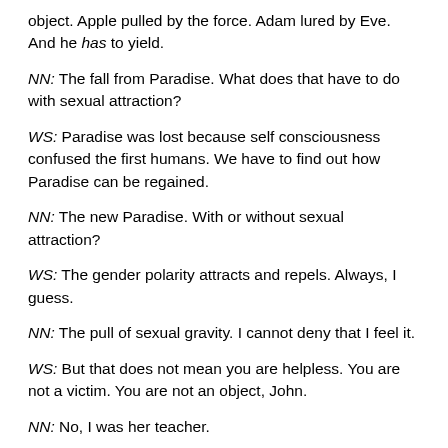object. Apple pulled by the force. Adam lured by Eve. And he has to yield.
NN: The fall from Paradise. What does that have to do with sexual attraction?
WS: Paradise was lost because self consciousness confused the first humans. We have to find out how Paradise can be regained.
NN: The new Paradise. With or without sexual attraction?
WS: The gender polarity attracts and repels. Always, I guess.
NN: The pull of sexual gravity. I cannot deny that I feel it.
WS: But that does not mean you are helpless. You are not a victim. You are not an object, John.
NN: No, I was her teacher.
WS: A woman with daddy issues feels attracted to her